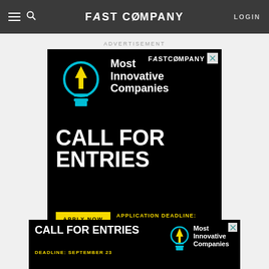FAST COMPANY  LOGIN
ADVERTISEMENT
[Figure (infographic): Fast Company Most Innovative Companies Call For Entries advertisement. Black background with cyan/yellow lightbulb icon, white bold text reading 'Most Innovative Companies' and 'CALL FOR ENTRIES', yellow 'APPLY NOW' button, yellow text 'APPLICATION DEADLINE: SEPTEMBER 23'. Fast Company logo in top right corner with close X button.]
[Figure (infographic): Bottom banner ad: Black background, white bold 'CALL FOR ENTRIES' text, yellow 'DEADLINE: SEPTEMBER 23', lightbulb icon, 'Most Innovative Companies' text. Close X button top right.]